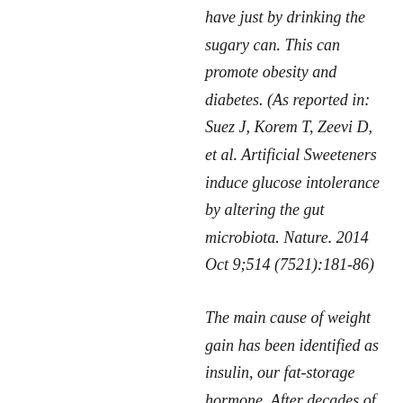have just by drinking the sugary can. This can promote obesity and diabetes. (As reported in: Suez J, Korem T, Zeevi D, et al. Artificial Sweeteners induce glucose intolerance by altering the gut microbiota. Nature. 2014 Oct 9;514 (7521):181-86)
The main cause of weight gain has been identified as insulin, our fat-storage hormone. After decades of